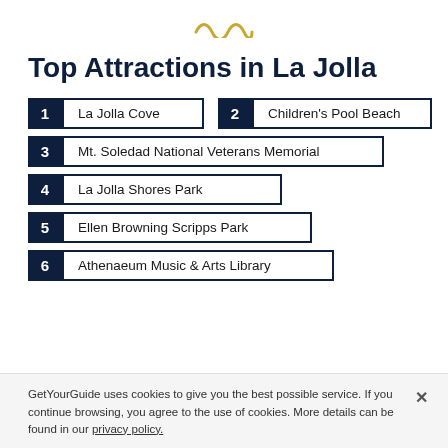[Figure (illustration): Decorative wavy line icon in gold/yellow color centered at top]
Top Attractions in La Jolla
1 La Jolla Cove
2 Children's Pool Beach
3 Mt. Soledad National Veterans Memorial
4 La Jolla Shores Park
5 Ellen Browning Scripps Park
6 Athenaeum Music & Arts Library
GetYourGuide uses cookies to give you the best possible service. If you continue browsing, you agree to the use of cookies. More details can be found in our privacy policy.